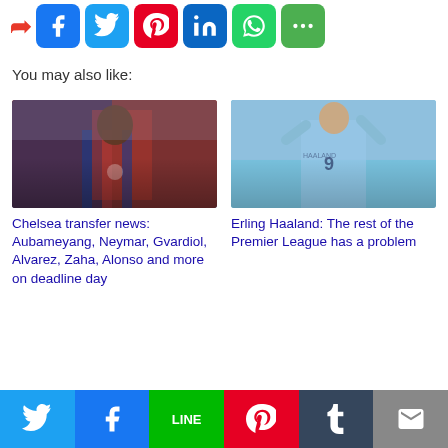[Figure (other): Social media share buttons row at top: Facebook (blue), Twitter (light blue), Pinterest (red), LinkedIn (blue), WhatsApp (green), More (green)]
You may also like:
[Figure (photo): Photo of Pierre-Emerick Aubameyang in a Barcelona red and blue striped Spotify jersey]
[Figure (photo): Photo of Erling Haaland wearing Manchester City light blue jersey number 9, arms raised celebrating]
Chelsea transfer news: Aubameyang, Neymar, Gvardiol, Alvarez, Zaha, Alonso and more on deadline day
Erling Haaland: The rest of the Premier League has a problem
[Figure (photo): Partial photo at bottom left, partially visible]
[Figure (photo): Partial photo at bottom right, partially visible]
[Figure (other): Bottom social share bar: Twitter (blue), Facebook (blue), LINE (green), Pinterest (red), Tumblr (dark), Email (gray)]